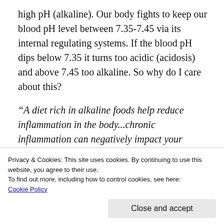high pH (alkaline). Our body fights to keep our blood pH level between 7.35-7.45 via its internal regulating systems. If the blood pH dips below 7.35 it turns too acidic (acidosis) and above 7.45 too alkaline. So why do I care about this?
“A diet rich in alkaline foods help reduce inflammation in the body...chronic inflammation can negatively impact your health. Experts seem to agree that one of the first ways to reduce inflammation is by assessing your diet and
Privacy & Cookies: This site uses cookies. By continuing to use this website, you agree to their use.
To find out more, including how to control cookies, see here: Cookie Policy
pains and it is said that cancers thrive in an acid